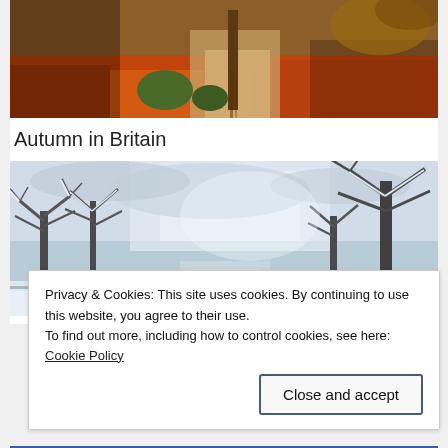[Figure (photo): Autumn garden scene with orange and red fallen leaves, moss-covered rocks, and a wooden post on a stone path]
Autumn in Britain
[Figure (photo): Winter scene with snow-covered bare trees lining a road under a cloudy sky]
Privacy & Cookies: This site uses cookies. By continuing to use this website, you agree to their use.
To find out more, including how to control cookies, see here: Cookie Policy
Close and accept